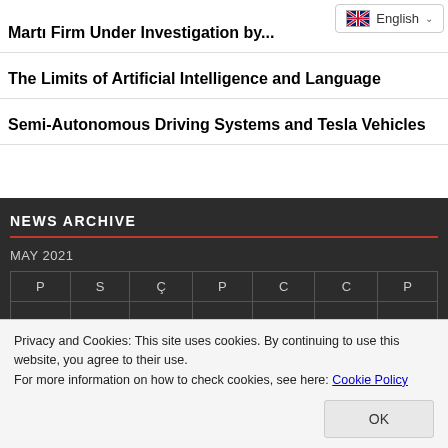English
Martı Firm Under Investigation by...
The Limits of Artificial Intelligence and Language
Semi-Autonomous Driving Systems and Tesla Vehicles
NEWS ARCHIVE
MAY 2021
| P | S | Ç | P | C | C | P |
| --- | --- | --- | --- | --- | --- | --- |
Privacy and Cookies: This site uses cookies. By continuing to use this website, you agree to their use.
For more information on how to check cookies, see here: Cookie Policy
OK